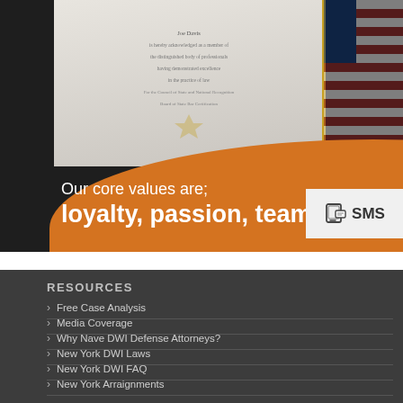[Figure (photo): Photo of a legal certificate/diploma on a stand with an American flag in the background, partially obscured. An orange semi-circular overlay contains white text reading 'Our core values are; loyalty, passion, team.' An SMS button appears in the top-right corner.]
RESOURCES
Free Case Analysis
Media Coverage
Why Nave DWI Defense Attorneys?
New York DWI Laws
New York DWI FAQ
New York Arraignments